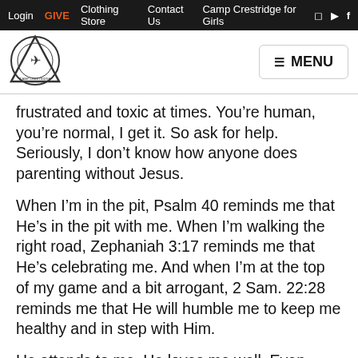Login  GIVE  Clothing Store  Contact Us  Camp Crestridge for Girls
[Figure (logo): Camp Crestridge for Girls circular logo with triangle and nature scene]
frustrated and toxic at times. You’re human, you’re normal, I get it. So ask for help. Seriously, I don’t know how anyone does parenting without Jesus.
When I’m in the pit, Psalm 40 reminds me that He’s in the pit with me. When I’m walking the right road, Zephaniah 3:17 reminds me that He’s celebrating me. And when I’m at the top of my game and a bit arrogant, 2 Sam. 22:28 reminds me that He will humble me to keep me healthy and in step with Him.
He attends to me. He loves me well. Even when I don’t realize it yet. That’s our model